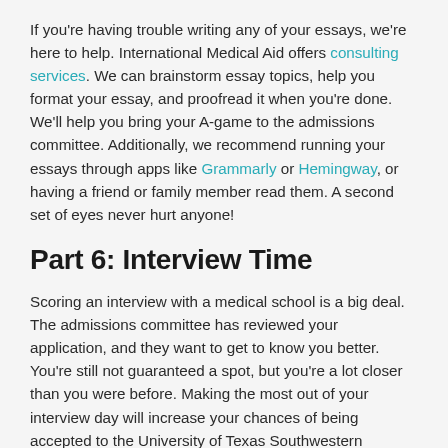If you're having trouble writing any of your essays, we're here to help. International Medical Aid offers consulting services. We can brainstorm essay topics, help you format your essay, and proofread it when you're done. We'll help you bring your A-game to the admissions committee. Additionally, we recommend running your essays through apps like Grammarly or Hemingway, or having a friend or family member read them. A second set of eyes never hurt anyone!
Part 6: Interview Time
Scoring an interview with a medical school is a big deal. The admissions committee has reviewed your application, and they want to get to know you better. You're still not guaranteed a spot, but you're a lot closer than you were before. Making the most out of your interview day will increase your chances of being accepted to the University of Texas Southwestern Medical School.